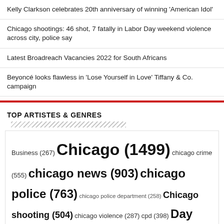Kelly Clarkson celebrates 20th anniversary of winning 'American Idol'
Chicago shootings: 46 shot, 7 fatally in Labor Day weekend violence across city, police say
Latest Broadreach Vacancies 2022 for South Africans
Beyoncé looks flawless in 'Lose Yourself in Love' Tiffany & Co. campaign
TOP ARTISTES & GENRES
Business (267) Chicago (1499) chicago crime (555) chicago news (903) chicago police (763) chicago police department (258) Chicago shooting (504) chicago violence (287) cpd (398) Day (872) days (735) empowerment (390) home (284) Job (254) killed (332) Living (238) Login (684) man (443) Manager (373) Metro (392) mlb (304) News (2209) Opportunities (591) Park (408) Part (277) people (262) Police (786) police department (314) position (571)